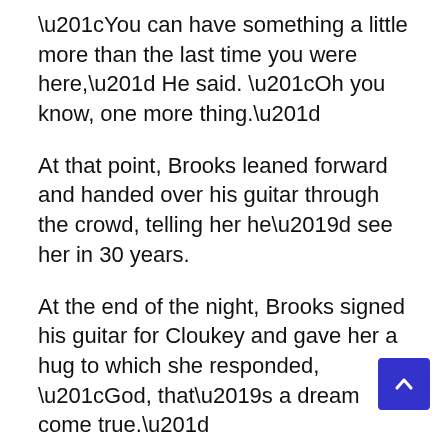“You can have something a little more than the last time you were here,” He said. “Oh you know, one more thing.”
At that point, Brooks leaned forward and handed over his guitar through the crowd, telling her he’d see her in 30 years.
At the end of the night, Brooks signed his guitar for Cloukey and gave her a hug to which she responded, “God, that’s a dream come true.”
On her Facebook page, Cloukey posted: “Bucketlist was to see Garth as close to the stage as possible. This surpassed anything I ever imagined.”